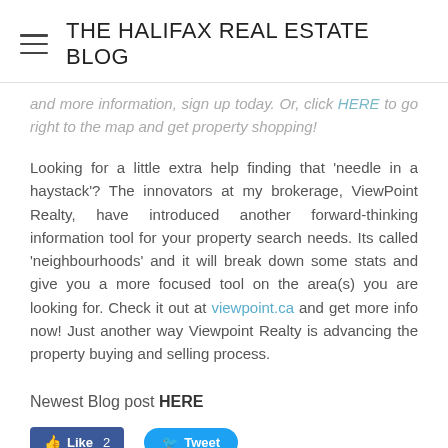THE HALIFAX REAL ESTATE BLOG
and more information, sign up today. Or, click HERE to go right to the map and get property shopping!
Looking for a little extra help finding that 'needle in a haystack'? The innovators at my brokerage, ViewPoint Realty, have introduced another forward-thinking information tool for your property search needs. Its called 'neighbourhoods' and it will break down some stats and give you a more focused tool on the area(s) you are looking for. Check it out at viewpoint.ca and get more info now! Just another way Viewpoint Realty is advancing the property buying and selling process.
Newest Blog post HERE
[Figure (other): Facebook Like button with count 2 and Twitter Tweet button]